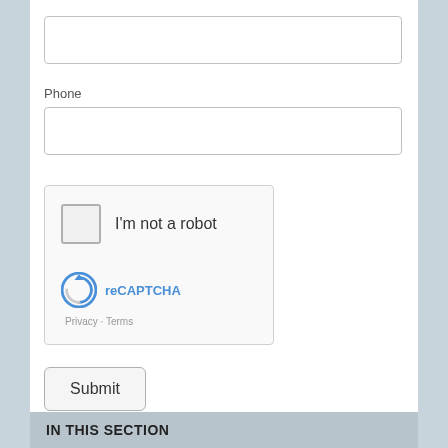[Figure (other): Input field box (top, partially visible, no label)]
Phone
[Figure (other): Phone input text field box]
[Figure (other): reCAPTCHA widget with checkbox labeled 'I'm not a robot', reCAPTCHA logo, Privacy and Terms links]
[Figure (other): Submit button]
[Figure (other): Contact Us Today button with phone and email icon]
IN THIS SECTION